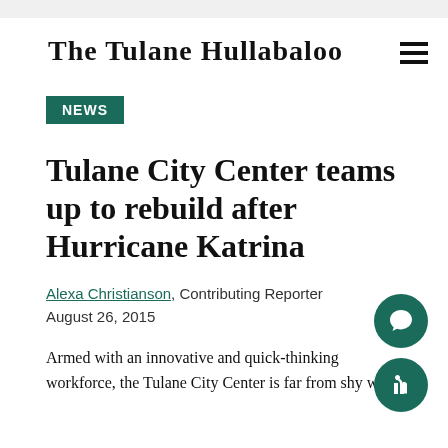The Tulane Hullabaloo
NEWS
Tulane City Center teams up to rebuild after Hurricane Katrina
Alexa Christianson, Contributing Reporter
August 26, 2015
Armed with an innovative and quick-thinking workforce, the Tulane City Center is far from shy when